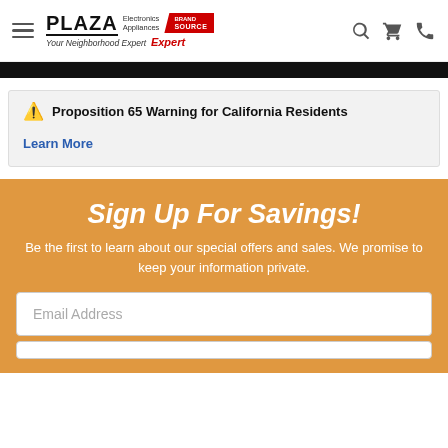PLAZA Electronics Appliances Your Neighborhood Expert — Brand Source Expert
Proposition 65 Warning for California Residents
Learn More
Sign Up For Savings!
Be the first to learn about our special offers and sales. We promise to keep your information private.
Email Address